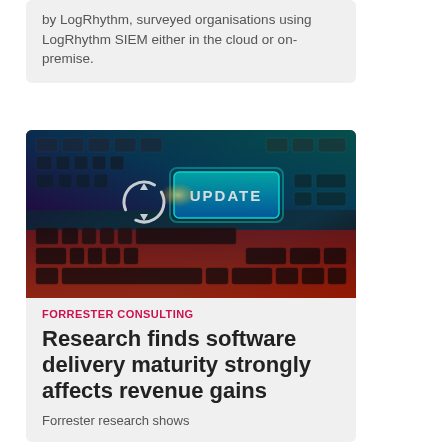by LogRhythm, surveyed organisations using LogRhythm SIEM either in the cloud or on-premise.
[Figure (photo): Close-up photo of a keyboard with a glowing teal UPDATE key highlighted, featuring a circular refresh/update icon, set against a dark background with red and blue tones.]
FORRESTER CONSULTING
Research finds software delivery maturity strongly affects revenue gains
Forrester research shows